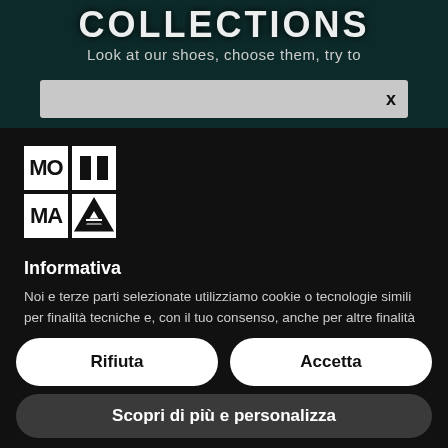COLLECTIONS
Look at our shoes, choose them, try to
[Figure (screenshot): Search bar with dark background and X close button]
[Figure (logo): MOMA logo in white squares on black background]
Informativa
Noi e terze parti selezionate utilizziamo cookie o tecnologie simili per finalità tecniche e, con il tuo consenso, anche per altre finalità come specificato nella cookie policy. Il rifiuto del consenso può rendere non disponibili le relative funzioni.
Rifiuta
Accetta
Scopri di più e personalizza